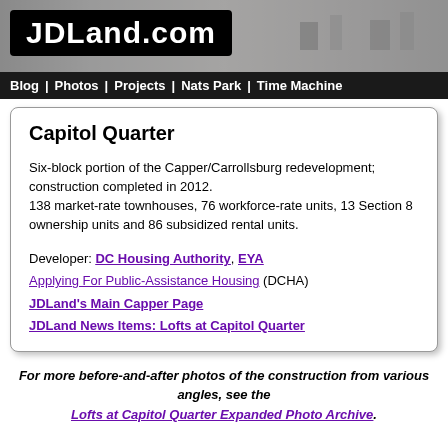[Figure (screenshot): JDLand.com website header with logo on dark background banner and navigation bar]
Blog | Photos | Projects | Nats Park | Time Machine
Capitol Quarter
Six-block portion of the Capper/Carrollsburg redevelopment; construction completed in 2012. 138 market-rate townhouses, 76 workforce-rate units, 13 Section 8 ownership units and 86 subsidized rental units.
Developer: DC Housing Authority, EYA
Applying For Public-Assistance Housing (DCHA)
JDLand's Main Capper Page
JDLand News Items: Lofts at Capitol Quarter
For more before-and-after photos of the construction from various angles, see the Lofts at Capitol Quarter Expanded Photo Archive.